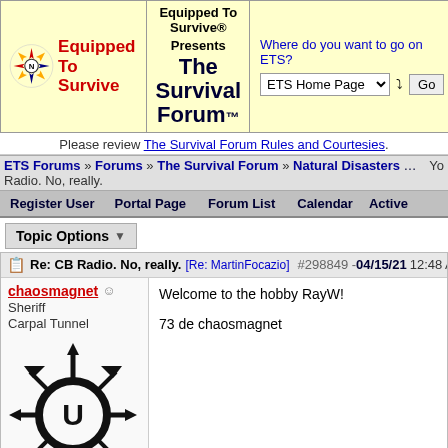[Figure (logo): Equipped To Survive logo with compass rose in red and blue colors]
Equipped To Survive® Presents The Survival Forum™
Where do you want to go on ETS? ETS Home Page Go
Please review The Survival Forum Rules and Courtesies.
Yo ETS Forums » Forums » The Survival Forum » Natural Disasters & Large-Sca Radio. No, really.
Register User  Portal Page  Forum List  Calendar  Active
Topic Options
Re: CB Radio. No, really. [Re: MartinFocazio] #298849 - 04/15/21 12:48 AM
chaosmagnet  Sheriff  Carpal Tunnel  Registered: 12/03/09  Posts: 3697
Welcome to the hobby RayW!

73 de chaosmagnet